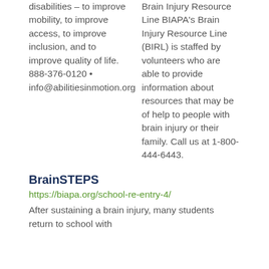disabilities – to improve mobility, to improve access, to improve inclusion, and to improve quality of life. 888-376-0120 • info@abilitiesinmotion.org
Brain Injury Resource Line BIAPA's Brain Injury Resource Line (BIRL) is staffed by volunteers who are able to provide information about resources that may be of help to people with brain injury or their family. Call us at 1-800-444-6443.
BrainSTEPS
https://biapa.org/school-re-entry-4/
After sustaining a brain injury, many students return to school with